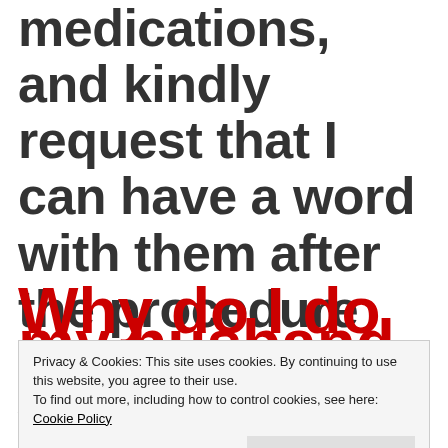medications, and kindly request that I can have a word with them after the procedure before having to wait for results.
Why do I do these
Privacy & Cookies: This site uses cookies. By continuing to use this website, you agree to their use. To find out more, including how to control cookies, see here: Cookie Policy
my husband is